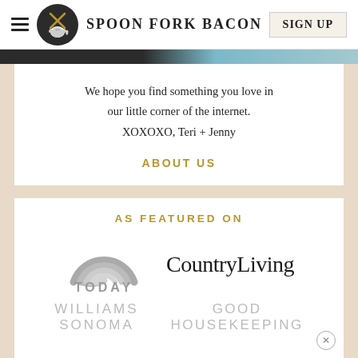SPOON FORK BACON | SIGN UP
We hope you find something you love in our little corner of the internet. XOXOXO, Teri + Jenny
ABOUT US
AS FEATURED ON
[Figure (logo): TODAY show logo with rainbow arc graphic and text TODAY in gray]
[Figure (logo): Country Living magazine logo in serif font]
[Figure (logo): Williams Sonoma logo in light gray uppercase letters]
[Figure (logo): Good Housekeeping logo in light gray uppercase letters]